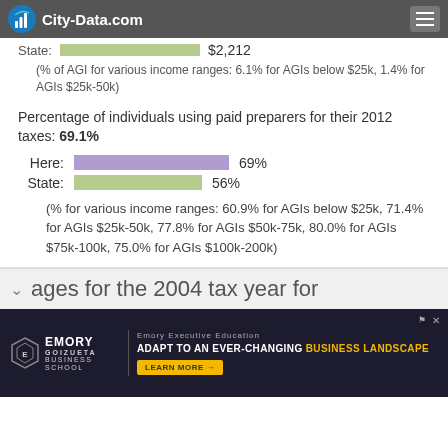City-Data.com
State: $2,212
(% of AGI for various income ranges: 6.1% for AGIs below $25k, 1.4% for AGIs $25k-50k)
Percentage of individuals using paid preparers for their 2012 taxes: 69.1%
Here: 69%
State: 56%
(% for various income ranges: 60.9% for AGIs below $25k, 71.4% for AGIs $25k-50k, 77.8% for AGIs $50k-75k, 80.0% for AGIs $75k-100k, 75.0% for AGIs $100k-200k)
ages for the 2004 tax year for
[Figure (other): Emory Goizueta Business School advertisement banner: Emory Executive Education - ADAPT TO AN EVER-CHANGING BUSINESS LANDSCAPE - LEARN MORE button]